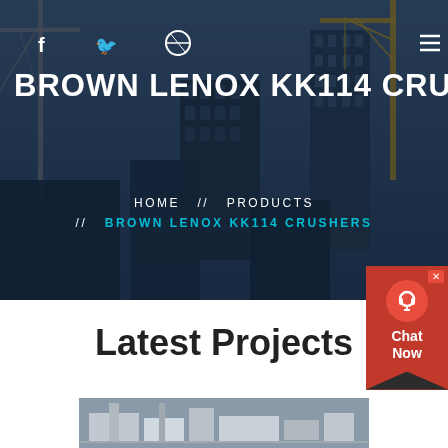[Figure (photo): Hero background showing construction cranes and city buildings in a dark blue-grey overlay]
BROWN LENOX KK114 CRUSHERS
HOME // PRODUCTS // BROWN LENOX KK114 CRUSHERS
Latest Projects
[Figure (photo): Industrial machinery / crusher equipment photo at the bottom of the page]